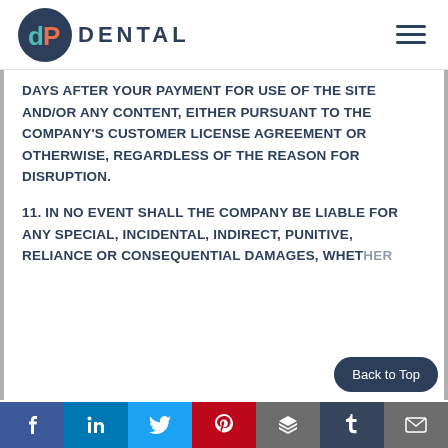dP DENTAL
DAYS AFTER YOUR PAYMENT FOR USE OF THE SITE AND/OR ANY CONTENT, EITHER PURSUANT TO THE COMPANY'S CUSTOMER LICENSE AGREEMENT OR OTHERWISE, REGARDLESS OF THE REASON FOR DISRUPTION.
11. IN NO EVENT SHALL THE COMPANY BE LIABLE FOR ANY SPECIAL, INCIDENTAL, INDIRECT, PUNITIVE, RELIANCE OR CONSEQUENTIAL DAMAGES, WHETHER
Social share bar: Facebook, LinkedIn, Twitter, Pinterest, Buffer, Tumblr, Email